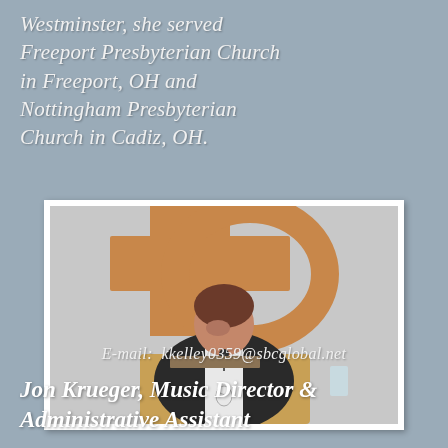Westminster, she served Freeport Presbyterian Church in Freeport, OH and Nottingham Presbyterian Church in Cadiz, OH.
[Figure (photo): A woman in clerical robes with a white stole stands at a wooden pulpit, speaking or preaching. Behind her is a large wooden cross structure on a light gray wall.]
E-mail:  kkelley0359@sbcglobal.net
Jon Krueger, Music Director & Administrative Assistant